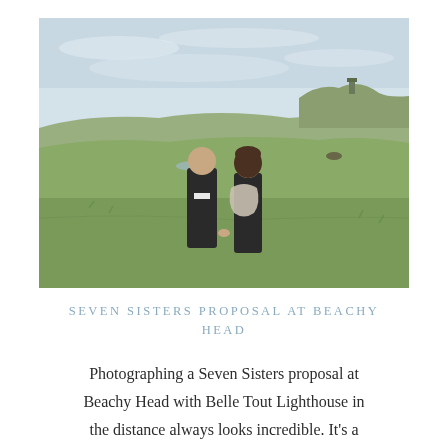[Figure (photo): A couple walking and laughing in an open grassy landscape with rolling hills and a cloudy sky. The man is dressed in a dark jacket and the woman wears a light scarf over dark clothing. A structure is visible on the hilltop in the background.]
SEVEN SISTERS PROPOSAL AT BEACHY HEAD
Photographing a Seven Sisters proposal at Beachy Head with Belle Tout Lighthouse in the distance always looks incredible. It's a popular choice among my surprise proposal